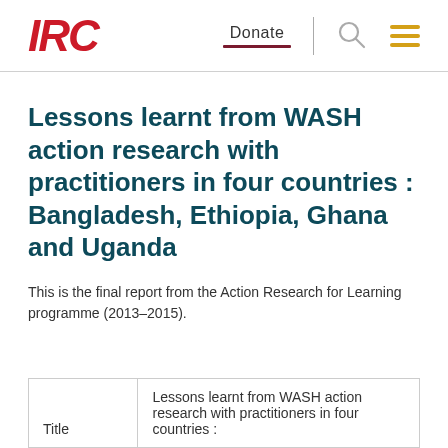IRC | Donate
Lessons learnt from WASH action research with practitioners in four countries : Bangladesh, Ethiopia, Ghana and Uganda
This is the final report from the Action Research for Learning programme (2013–2015).
| Title |  |
| --- | --- |
| Title | Lessons learnt from WASH action research with practitioners in four countries : |